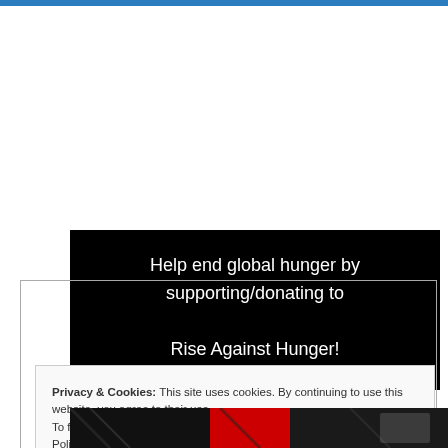Help end global hunger by supporting/donating to Rise Against Hunger!
Privacy & Cookies: This site uses cookies. By continuing to use this website, you agree to their use.
To find out more, including how to control cookies, see here: Cookie Policy
Close and accept
[Figure (photo): Partial image of people or figures with black, red and grey tones visible at the bottom of the page]